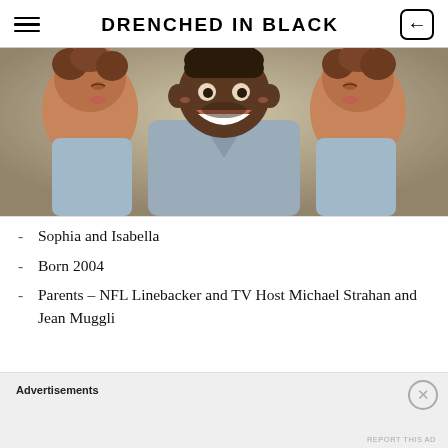DRENCHED IN BLACK
[Figure (photo): A smiling Black man in a grey v-neck t-shirt being kissed on both cheeks by two young girls with curly hair, photographed close-up with a blurred outdoor background.]
Sophia and Isabella
Born 2004
Parents – NFL Linebacker and TV Host Michael Strahan and Jean Muggli
Advertisements